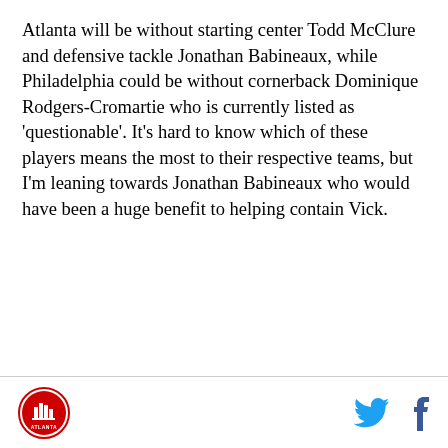Atlanta will be without starting center Todd McClure and defensive tackle Jonathan Babineaux, while Philadelphia could be without cornerback Dominique Rodgers-Cromartie who is currently listed as 'questionable'. It's hard to know which of these players means the most to their respective teams, but I'm leaning towards Jonathan Babineaux who would have been a huge benefit to helping contain Vick.
Atlanta Falcons logo | Twitter icon | Facebook icon